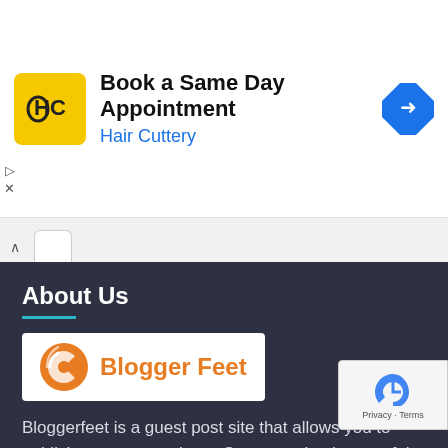[Figure (infographic): Hair Cuttery advertisement banner with logo, title 'Book a Same Day Appointment', subtitle 'Hair Cuttery', and a blue diamond arrow icon]
Book a Same Day Appointment
Hair Cuttery
About Us
[Figure (logo): Blogger Feet logo - orange swirl icon with text 'Blogger Feet' in orange on white background]
Bloggerfeet is a guest post site that allows you to publish your content here. Guest posting is one of the best online marketing techniques to promote your website on the internet. We have 11 categories on our website that cover almost all aspects of the environment as well as business. Our categories include Business, Education, Entertainment, Finance, Health & Wellness, Technology, Travel, World, Fashion, Pet & Animals and Local Guide. To attract users, it is very important that write your content in such a way that it